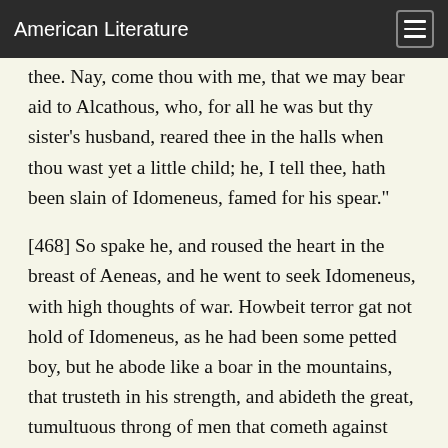American Literature
thee. Nay, come thou with me, that we may bear aid to Alcathous, who, for all he was but thy sister's husband, reared thee in the halls when thou wast yet a little child; he, I tell thee, hath been slain of Idomeneus, famed for his spear."
[468] So spake he, and roused the heart in the breast of Aeneas, and he went to seek Idomeneus, with high thoughts of war. Howbeit terror gat not hold of Idomeneus, as he had been some petted boy, but he abode like a boar in the mountains, that trusteth in his strength, and abideth the great, tumultuous throng of men that cometh against him, in a lonely place; he bristleth up his back and his